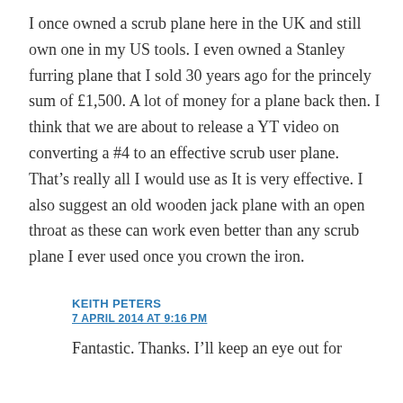I once owned a scrub plane here in the UK and still own one in my US tools. I even owned a Stanley furring plane that I sold 30 years ago for the princely sum of £1,500. A lot of money for a plane back then. I think that we are about to release a YT video on converting a #4 to an effective scrub user plane. That's really all I would use as It is very effective. I also suggest an old wooden jack plane with an open throat as these can work even better than any scrub plane I ever used once you crown the iron.
KEITH PETERS
7 APRIL 2014 AT 9:16 PM
Fantastic. Thanks. I'll keep an eye out for